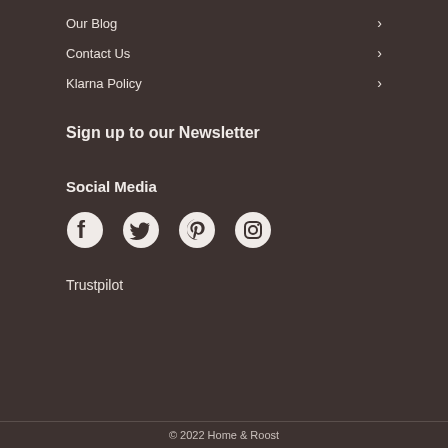Our Blog
Contact Us
Klarna Policy
Sign up to our Newsletter
Social Media
[Figure (illustration): Social media icons: Facebook, Twitter, Pinterest, Instagram]
Trustpilot
© 2022 Home & Roost